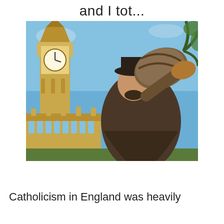and I tot...
[Figure (photo): A man dressed in Victorian-era costume with a dark hat and brown coat holds a large barrel or drum over his shoulder, standing in front of Big Ben and the Houses of Parliament in London under a blue sky.]
Catholicism in England was heavily